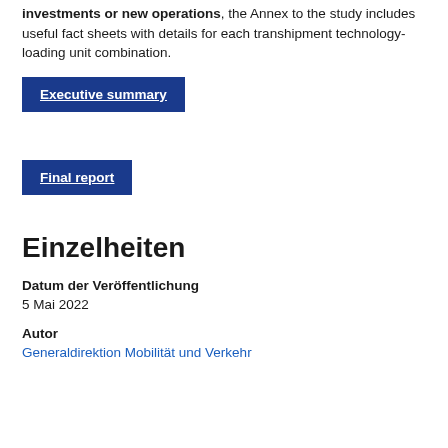For the terminal and transport operators who consider investments or new operations, the Annex to the study includes useful fact sheets with details for each transhipment technology-loading unit combination.
Executive summary
Final report
Einzelheiten
Datum der Veröffentlichung
5 Mai 2022
Autor